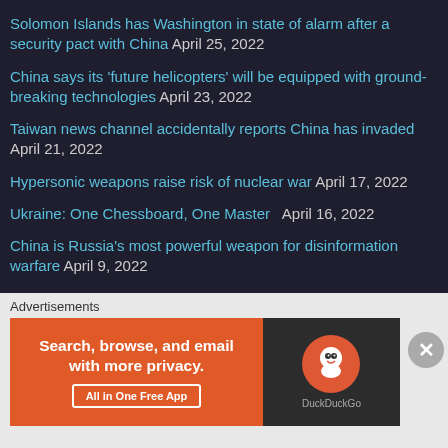Solomon Islands has Washington in state of alarm after a security pact with China April 25, 2022
China says its 'future helicopters' will be equipped with ground-breaking technologies April 23, 2022
Taiwan news channel accidentally reports China has invaded April 21, 2022
Hypersonic weapons raise risk of nuclear war April 17, 2022
Ukraine: One Chessboard, One Master   April 16, 2022
China is Russia's most powerful weapon for disinformation warfare April 9, 2022
Shanghai to New York in two hours? China joins the hypersonic flight race. April 6, 2022
Tactical Nukes of Pakistan & China, and Russia-Ukraine war   April 4, 2022
China accused of launching cyber-attacks on Ukraine before Russian invasion April 2, 2022
China's plateau-capable drone makes 1st flight with...
Advertisements
[Figure (screenshot): DuckDuckGo advertisement banner: orange background with 'Search, browse, and email with more privacy. All in One Free App' and DuckDuckGo logo on dark background]